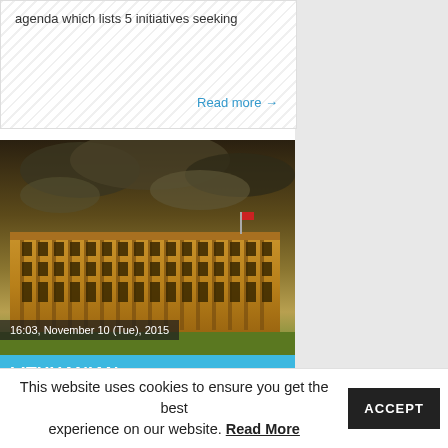agenda which lists 5 initiatives seeking
Read more →
[Figure (photo): Photo of a large government/parliament building with dramatic sky background, warm tone editing]
16:03, November 10 (Tue), 2015
LITHUANIAN PARLIAMENT TO VOTE ON RUSSIAN STYLE "ANTI-GAY PROPAGANDA" LAW AGAIN
This website uses cookies to ensure you get the best experience on our website. Read More ACCEPT